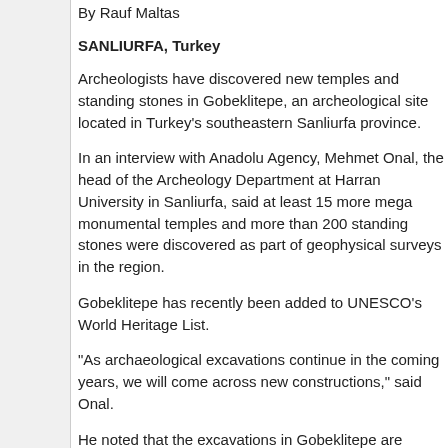By Rauf Maltas
SANLIURFA, Turkey
Archeologists have discovered new temples and standing stones in Gobeklitepe, an archeological site located in Turkey's southeastern Sanliurfa province.
In an interview with Anadolu Agency, Mehmet Onal, the head of the Archeology Department at Harran University in Sanliurfa, said at least 15 more mega monumental temples and more than 200 standing stones were discovered as part of geophysical surveys in the region.
Gobeklitepe has recently been added to UNESCO's World Heritage List.
"As archaeological excavations continue in the coming years, we will come across new constructions," said Onal.
He noted that the excavations in Gobeklitepe are estimated to continue for at least 150 years.
Gobeklitepe has been on UNESCO's World Heritage Tentative List since 2011. It was discovered in 1963 when researchers from Istanbul and Chicago universities were working at the site. Since then, the excavations have never stopped.